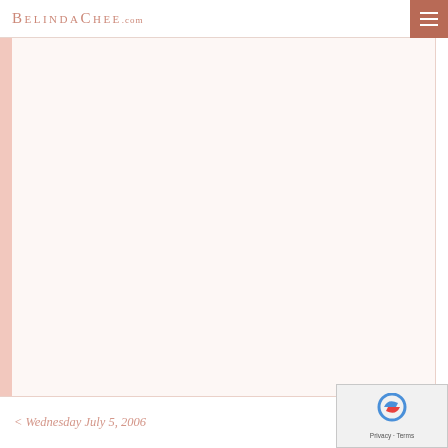BelindaChee.com
[Figure (other): Large blank/white content area with pale pink left sidebar border, representing a blog post image area that is empty or not loaded]
< Wednesday July 5, 2006    Thursday July 20...